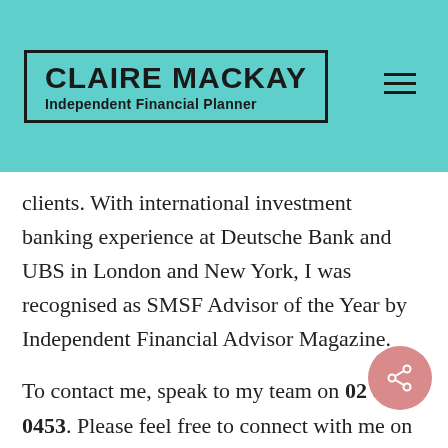CLAIRE MACKAY Independent Financial Planner
clients. With international investment banking experience at Deutsche Bank and UBS in London and New York, I was recognised as SMSF Advisor of the Year by Independent Financial Advisor Magazine.
To contact me, speak to my team on 02 8084 0453. Please feel free to connect with me on LinkedIn or